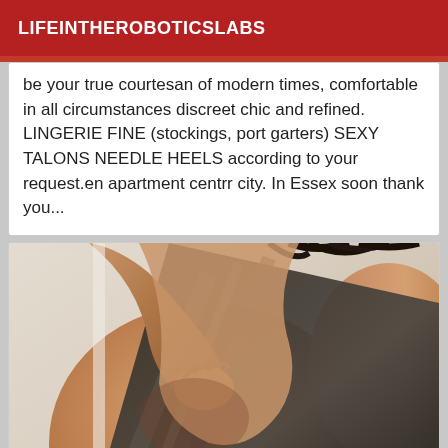LIFEINTHEROBOTICSLABS
be your true courtesan of modern times, comfortable in all circumstances discreet chic and refined. LINGERIE FINE (stockings, port garters) SEXY TALONS NEEDLE HEELS according to your request.en apartment centrr city. In Essex soon thank you...
[Figure (photo): Photo of a woman in a dark dress, upper body visible, braided hair, against a light background.]